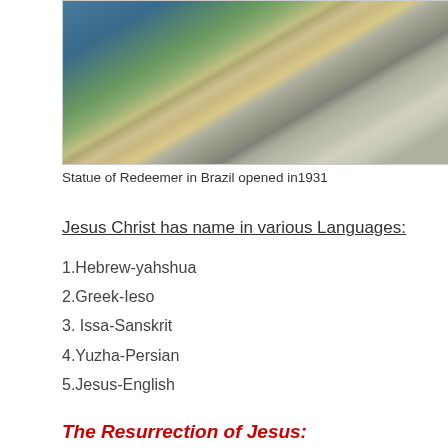[Figure (photo): Aerial photograph of a city with water and dense urban buildings, partially cropped]
Statue of Redeemer in Brazil opened in1931
Jesus Christ has name in various Languages:
1.Hebrew-yahshua
2.Greek-Ieso
3. Issa-Sanskrit
4.Yuzha-Persian
5.Jesus-English
The Resurrection of Jesus: